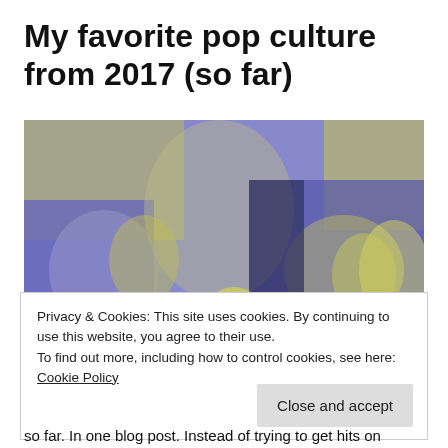My favorite pop culture from 2017 (so far)
[Figure (photo): A collage of pop culture figures and characters from 2017, rendered in blue and yellow duotone tones. Includes images of musicians, TV show characters, animated figures, and celebrities.]
Privacy & Cookies: This site uses cookies. By continuing to use this website, you agree to their use.
To find out more, including how to control cookies, see here: Cookie Policy
so far. In one blog post. Instead of trying to get hits on